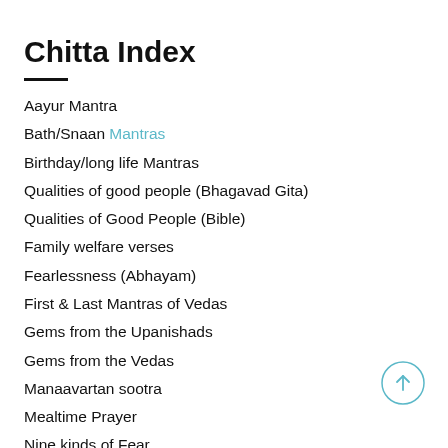(partial top text cut off)
Chitta Index
Aayur Mantra
Bath/Snaan Mantras
Birthday/long life Mantras
Qualities of good people (Bhagavad Gita)
Qualities of Good People (Bible)
Family welfare verses
Fearlessness (Abhayam)
First & Last Mantras of Vedas
Gems from the Upanishads
Gems from the Vedas
Manaavartan sootra
Mealtime Prayer
Nine kinds of Fear